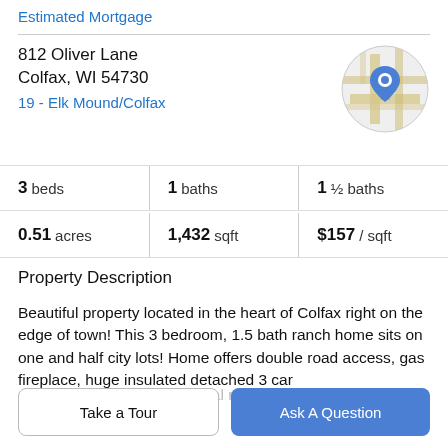Estimated Mortgage
812 Oliver Lane
Colfax, WI 54730
19 - Elk Mound/Colfax
[Figure (map): Circular map thumbnail showing a location pin over a street map of Colfax area with tan/yellow roads on light gray background.]
3 beds | 1 baths | 1 ½ baths
0.51 acres | 1,432 sqft | $157 / sqft
Property Description
Beautiful property located in the heart of Colfax right on the edge of town! This 3 bedroom, 1.5 bath ranch home sits on one and half city lots! Home offers double road access, gas fireplace, huge insulated detached 3 car
garage, 3 season room, metal roof, and mature trees
Take a Tour
Ask A Question